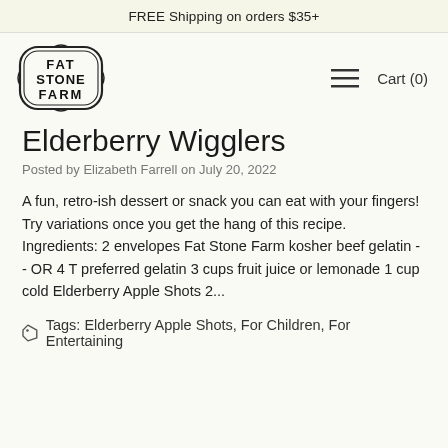FREE Shipping on orders $35+
[Figure (logo): Fat Stone Farm logo — oval badge with decorative border containing bold serif text FAT STONE FARM stacked in three lines]
Elderberry Wigglers
Posted by Elizabeth Farrell on July 20, 2022
A fun, retro-ish dessert or snack you can eat with your fingers! Try variations once you get the hang of this recipe. Ingredients: 2 envelopes Fat Stone Farm kosher beef gelatin - - OR 4 T preferred gelatin 3 cups fruit juice or lemonade 1 cup cold Elderberry Apple Shots 2...
Tags: Elderberry Apple Shots, For Children, For Entertaining